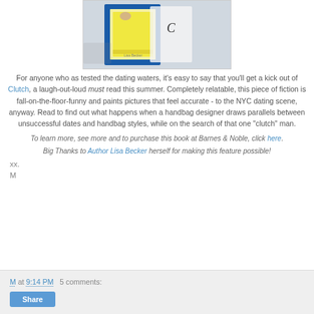[Figure (photo): Photo of a book with blue cover and yellow pages, held by a hand, with 'Lisa Becker' visible on the cover.]
For anyone who as tested the dating waters, it's easy to say that you'll get a kick out of Clutch, a laugh-out-loud must read this summer. Completely relatable, this piece of fiction is fall-on-the-floor-funny and paints pictures that feel accurate - to the NYC dating scene, anyway. Read to find out what happens when a handbag designer draws parallels between unsuccessful dates and handbag styles, while on the search of that one "clutch" man.
To learn more, see more and to purchase this book at Barnes & Noble, click here.
Big Thanks to Author Lisa Becker herself for making this feature possible!
xx.
M
M at 9:14 PM   5 comments: